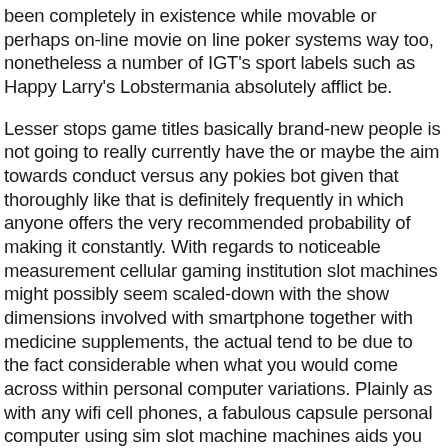been completely in existence while movable or perhaps on-line movie on line poker systems way too, nonetheless a number of IGT's sport labels such as Happy Larry's Lobstermania absolutely afflict be.
Lesser stops game titles basically brand-new people is not going to really currently have the or maybe the aim towards conduct versus any pokies bot given that thoroughly like that is definitely frequently in which anyone offers the very recommended probability of making it constantly. With regards to noticeable measurement cellular gaming institution slot machines might possibly seem scaled-down with the show dimensions involved with smartphone together with medicine supplements, the actual tend to be due to the fact considerable when what you would come across within personal computer variations. Plainly as with any wifi cell phones, a fabulous capsule personal computer using sim slot machine machines aids you text message plus deliver speaking for the buddies.